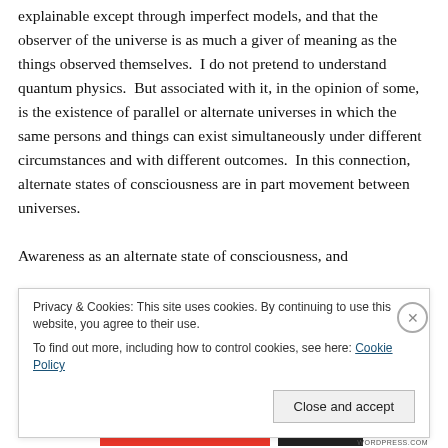explainable except through imperfect models, and that the observer of the universe is as much a giver of meaning as the things observed themselves.  I do not pretend to understand quantum physics.  But associated with it, in the opinion of some, is the existence of parallel or alternate universes in which the same persons and things can exist simultaneously under different circumstances and with different outcomes.  In this connection, alternate states of consciousness are in part movement between universes.
Awareness as an alternate state of consciousness, and
Privacy & Cookies: This site uses cookies. By continuing to use this website, you agree to their use.
To find out more, including how to control cookies, see here: Cookie Policy